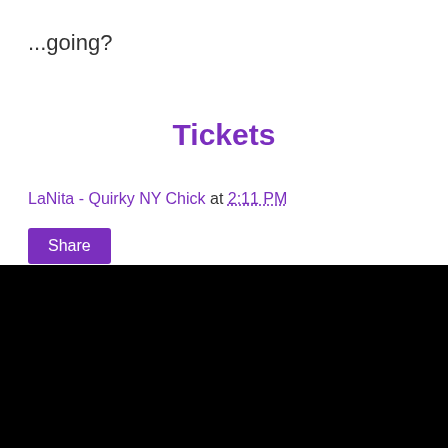...going?
Tickets
LaNita - Quirky NY Chick at 2:11 PM
Share
Home
View web version
Contributors
LaNita - Quirky NY Chick
Quirky NY Chick
Powered by Blogger.